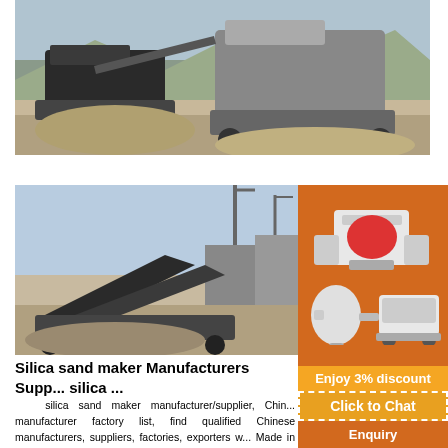[Figure (photo): Large industrial mobile crushers/screening machines operating on a rocky mining site with gravel piles and a quarry backdrop.]
[Figure (photo): Industrial sand-making equipment and conveyor belts at an outdoor industrial facility.]
[Figure (illustration): Orange advertisement panel showing multiple mining/crushing machines with a 3% discount offer, Click to Chat button, and Enquiry button.]
Silica sand maker Manufacturers Suppliers silica ...
silica sand maker manufacturer/supplier, China manufacturer factory list, find qualified Chinese manufacturers, suppliers, factories, exporters w... Made in China...